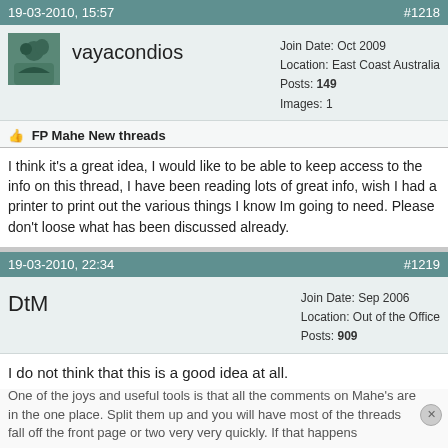19-03-2010, 15:57   #1218
vayacondios
Join Date: Oct 2009
Location: East Coast Australia
Posts: 149
Images: 1
FP Mahe New threads
I think it's a great idea, I would like to be able to keep access to the info on this thread, I have been reading lots of great info, wish I had a printer to print out the various things I know Im going to need. Please don't loose what has been discussed already.
19-03-2010, 22:34   #1219
DtM
Join Date: Sep 2006
Location: Out of the Office
Posts: 909
I do not think that this is a good idea at all.
One of the joys and useful tools is that all the comments on Mahe's are in the one place. Split them up and you will have most of the threads fall off the front page or two very very quickly. If that happens